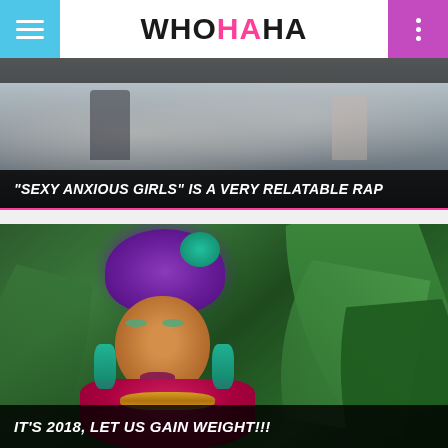WHOHAHA
[Figure (photo): Partial view of a street scene, blurry background with people walking]
“SEXY ANXIOUS GIRLS” IS A VERY RELATABLE RAP
[Figure (photo): Woman wearing a purple headwrap with teal flower accent, magenta dress, teal earrings, gold necklace, with tropical green leaves in background]
IT’S 2018, LET US GAIN WEIGHT!!!